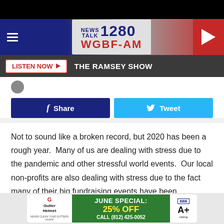[Figure (screenshot): Black top bar]
[Figure (screenshot): NewsTalk 1280 WGBF-AM radio station header banner with hamburger menu and play button]
[Figure (screenshot): Listen Now bar with THE RAMSEY SHOW text]
[Figure (screenshot): Facebook Share and Twitter Tweet buttons]
Not to sound like a broken record, but 2020 has been a rough year.  Many of us are dealing with stress due to the pandemic and other stressful world events.  Our local non-profits are also dealing with stress due to the fact many of their big fundraising events have been canceled.  The Vanderburgh Humane Society is looking to bridge the gap in lost funds
[Figure (screenshot): Gutter Helmet advertisement: JUNE SPECIAL: 25% OFF CALL (812) 425-0052 with BBB A+ rating]